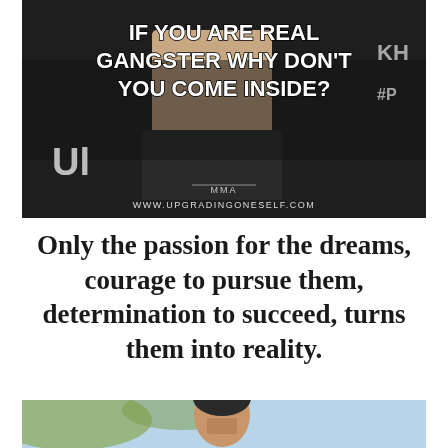[Figure (photo): MMA fighter at weigh-in event with text overlay: 'IF YOU ARE REAL GANGSTER WHY DON'T YOU COME INSIDE?' and watermark 'MMA' and 'WWW.UPGRADINGONESELF.COM']
Only the passion for the dreams, courage to pursue them, determination to succeed, turns them into reality.
[Figure (photo): Close-up portrait photo of a man with short hair outdoors, blurred green and blue background.]